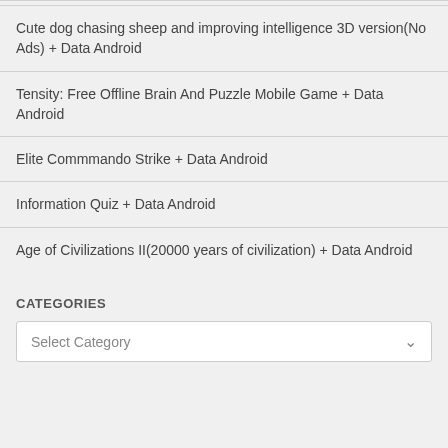Cute dog chasing sheep and improving intelligence 3D version(No Ads) + Data Android
Tensity: Free Offline Brain And Puzzle Mobile Game + Data Android
Elite Commmando Strike + Data Android
Information Quiz + Data Android
Age of Civilizations II(20000 years of civilization) + Data Android
CATEGORIES